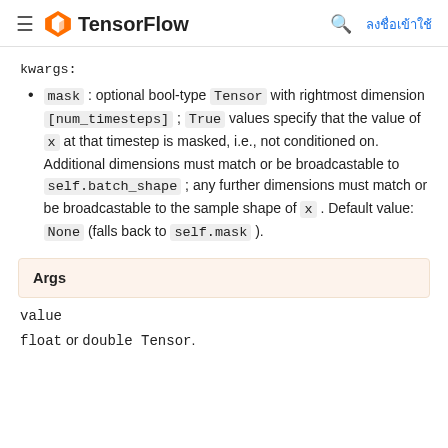TensorFlow | ลงชื่อเข้าใช้
kwargs:
mask : optional bool-type Tensor with rightmost dimension [num_timesteps] ; True values specify that the value of x at that timestep is masked, i.e., not conditioned on. Additional dimensions must match or be broadcastable to self.batch_shape ; any further dimensions must match or be broadcastable to the sample shape of x . Default value: None (falls back to self.mask ).
Args
value
float or double Tensor.